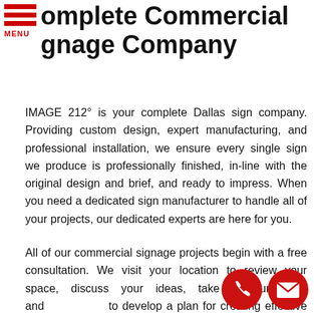Complete Commercial Signage Company
IMAGE 212° is your complete Dallas sign company. Providing custom design, expert manufacturing, and professional installation, we ensure every single sign we produce is professionally finished, in-line with the original design and brief, and ready to impress. When you need a dedicated sign manufacturer to handle all of your projects, our dedicated experts are here for you.
All of our commercial signage projects begin with a free consultation. We visit your location to review your space, discuss your ideas, take measurements and to develop a plan for creating effective signage and graphics
[Figure (illustration): Two floating circular icons at bottom right: a red phone icon and a red envelope/mail icon]